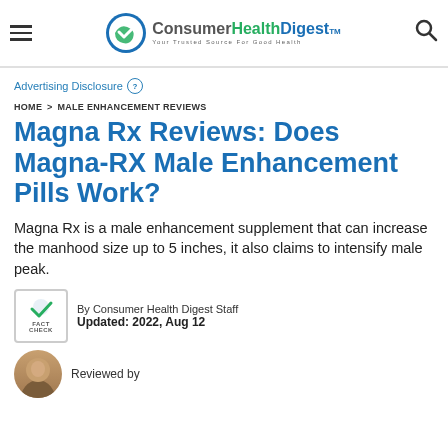Consumer HealthDigest™ — Your Trusted Source For Good Health
Advertising Disclosure
HOME > MALE ENHANCEMENT REVIEWS
Magna Rx Reviews: Does Magna-RX Male Enhancement Pills Work?
Magna Rx is a male enhancement supplement that can increase the manhood size up to 5 inches, it also claims to intensify male peak.
By Consumer Health Digest Staff
Updated: 2022, Aug 12
Reviewed by